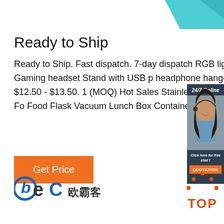[Figure (illustration): Teal/blue decorative geometric shape at top right corner]
Ready to Ship
Ready to Ship. Fast dispatch. 7-day dispatch RGB light Gaming headset Stand with USB headphone hanger stand. $12.50 - $13.50. 1 (MOQ) Hot Sales Stainless Steel Thermal Fo Food Flask Vacuum Lunch Box Container. $3
[Figure (illustration): 24/7 Online chat widget with photo of female customer service representative wearing headset, dark blue background, 'Click here for free chat!' text, and orange QUOTATION button]
[Figure (logo): BEC 欧霸客 company logo in blue and black]
[Figure (illustration): Orange TOP button with dotted triangle/arc above it]